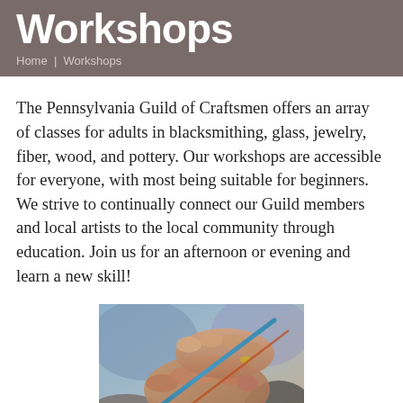Workshops
Home | Workshops
The Pennsylvania Guild of Craftsmen offers an array of classes for adults in blacksmithing, glass, jewelry, fiber, wood, and pottery. Our workshops are accessible for everyone, with most being suitable for beginners. We strive to continually connect our Guild members and local artists to the local community through education. Join us for an afternoon or evening and learn a new skill!
[Figure (photo): Close-up photo of hands holding a thin glass rod or tool, working on a craft project, with blurred colorful background]